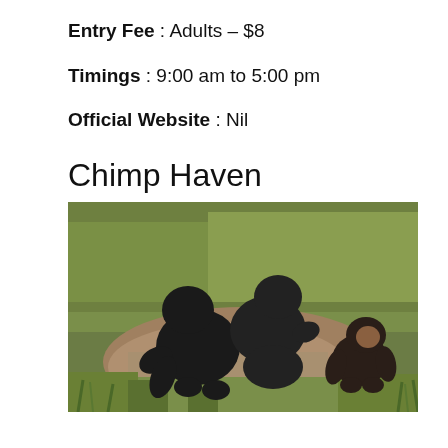Entry Fee : Adults – $8
Timings : 9:00 am to 5:00 pm
Official Website : Nil
Chimp Haven
[Figure (photo): Three chimpanzees on a dirt patch surrounded by green grass. Two large adult chimps are in the center-left, and a smaller younger chimp is to the right.]